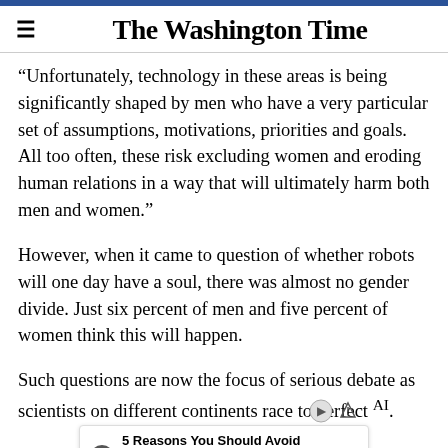The Washington Time
“Unfortunately, technology in these areas is being significantly shaped by men who have a very particular set of assumptions, motivations, priorities and goals. All too often, these risk excluding women and eroding human relations in a way that will ultimately harm both men and women.”
However, when it came to question of whether robots will one day have a soul, there was almost no gender divide. Just six percent of men and five percent of women think this will happen.
Such questions are now the focus of serious debate as scientists on different continents race to perfect AI.
[Figure (other): Advertisement overlay: '5 Reasons You Should Avoid Cancer Clinical...' sponsored by Envita Medical Centers, with close button and navigation arrows]